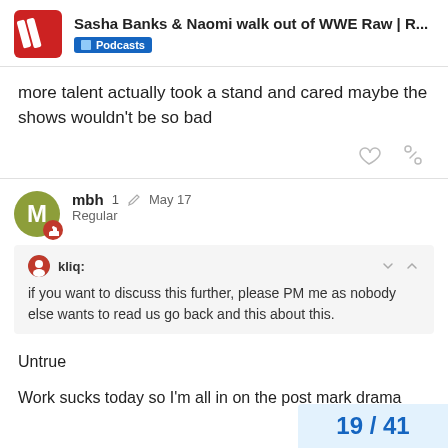Sasha Banks & Naomi walk out of WWE Raw | R... | Podcasts
more talent actually took a stand and cared maybe the shows wouldn't be so bad
kliq: if you want to discuss this further, please PM me as nobody else wants to read us go back and this about this.
Untrue
Work sucks today so I'm all in on the post mark drama
19 / 41